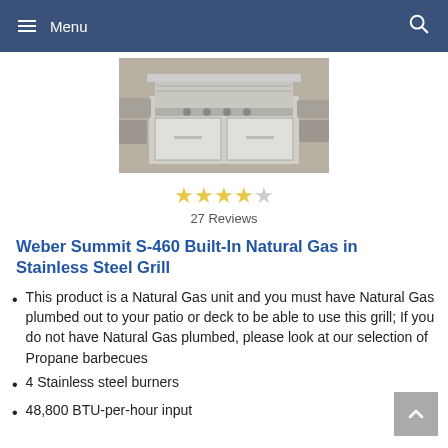Menu
[Figure (photo): Weber Summit S-460 Built-In Natural Gas Stainless Steel Grill product photo, showing a large stainless steel built-in grill with four burners and two doors, set against a stone/gravel background]
27 Reviews
Weber Summit S-460 Built-In Natural Gas in Stainless Steel Grill
This product is a Natural Gas unit and you must have Natural Gas plumbed out to your patio or deck to be able to use this grill; If you do not have Natural Gas plumbed, please look at our selection of Propane barbecues
4 Stainless steel burners
48,800 BTU-per-hour input